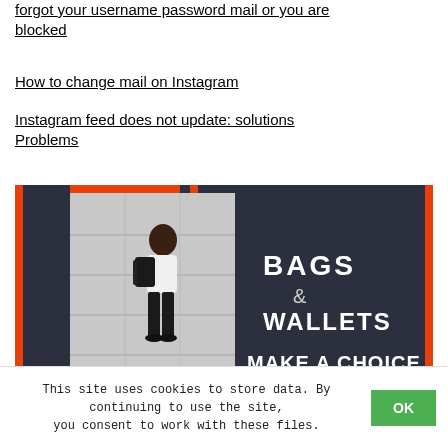forgot your username password mail or you are blocked
How to change mail on Instagram
Instagram feed does not update: solutions Problems
[Figure (infographic): Dark navy background infographic with orange accent bars. Left half shows a photo of a man with a backpack standing against a concrete wall. Right half shows bold white text: 'BAGS & WALLETS' and 'MAKE A CHOICE'.]
This site uses cookies to store data. By continuing to use the site, you consent to work with these files.